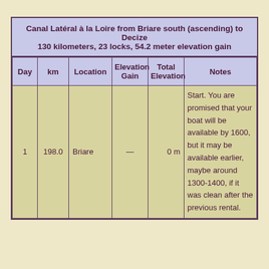| Day | km | Location | Elevation Gain | Total Elevation | Notes |
| --- | --- | --- | --- | --- | --- |
| 1 | 198.0 | Briare | — | 0 m | Start. You are promised that your boat will be available by 1600, but it may be available earlier, maybe around 1300-1400, if it was clean after the previous rental. |